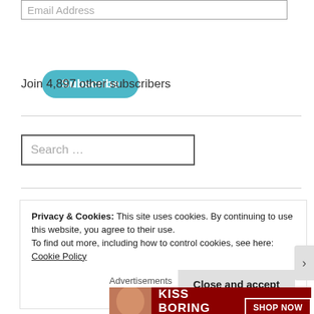Email Address
Subscribe
Join 4,897 other subscribers
Search …
Privacy & Cookies: This site uses cookies. By continuing to use this website, you agree to their use.
To find out more, including how to control cookies, see here: Cookie Policy
Close and accept
Advertisements
[Figure (other): Macy's advertisement banner: KISS BORING LIPS GOODBYE with SHOP NOW button and Macy's logo]